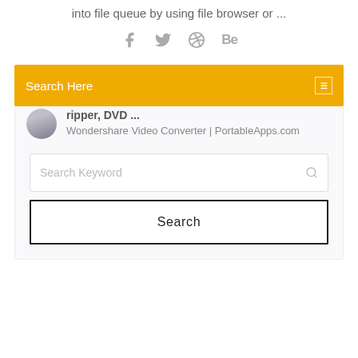into file queue by using file browser or ...
[Figure (infographic): Social media icons: Facebook, Twitter, Dribbble, Behance]
Search Here
ripper, DVD ...
Wondershare Video Converter | PortableApps.com
Search Keyword
Search